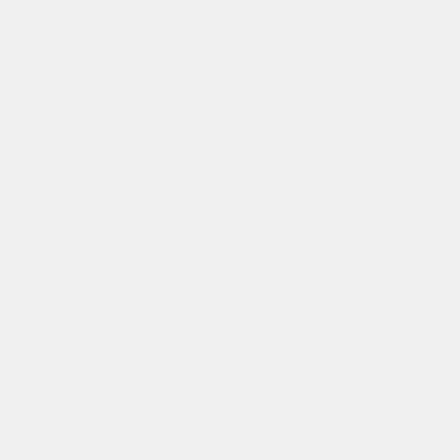*2:02:10 and 2:03:35 April 6
**1:22:58 January 13
***1:52:17 April 14
The post I Am Emailing You to C... Treatment of Representative Jan Sc... on Granite Grok.
Categories
ELON MUSK EXPOSES H... OTHER "OTHER" LE...
Mon, 2022-04-18 12:00
Ron DeSantis and Florida Republican... just to defend allowing adults to ta... little kids about sex but to demand it... such a row that even the disinter... attention.
Everyone from Sherry Fine Freet...